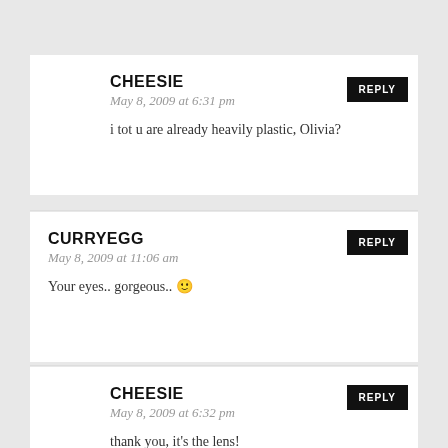CHEESIE
May 8, 2009 at 6:31 pm
i tot u are already heavily plastic, Olivia?
CURRYEGG
May 8, 2009 at 11:06 am
Your eyes.. gorgeous.. 🙂
CHEESIE
May 8, 2009 at 6:32 pm
thank you, it's the lens!